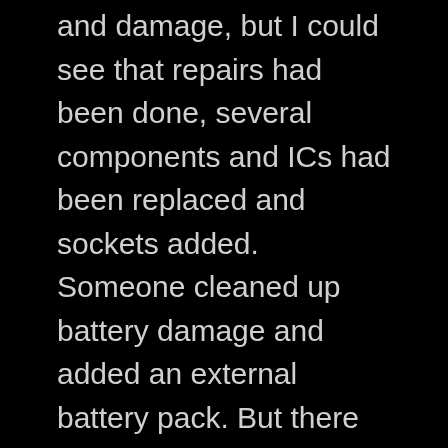and damage, but I could see that repairs had been done, several components and ICs had been replaced and sockets added. Someone cleaned up battery damage and added an external battery pack. But there was still major corrosion on the board… what gives??